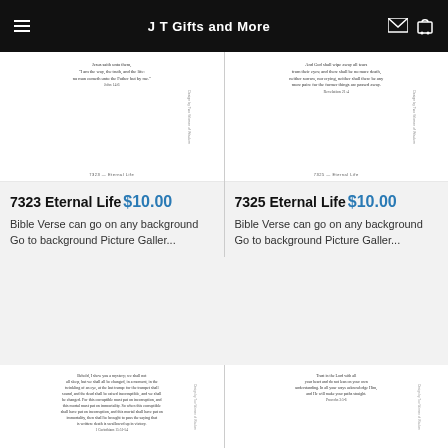J T Gifts and More
[Figure (photo): Product image of 7323 Eternal Life card with Bible verse on white background]
[Figure (photo): Product image of 7325 Eternal Life card with Bible verse on white background]
7323 Eternal Life $10.00
Bible Verse can go on any background Go to background Picture Galler...
7325 Eternal Life $10.00
Bible Verse can go on any background Go to background Picture Galler...
[Figure (photo): Partial product image of bottom-left Eternal Life card with longer Bible verse]
[Figure (photo): Partial product image of bottom-right Eternal Life card with Trust in the Lord Bible verse]